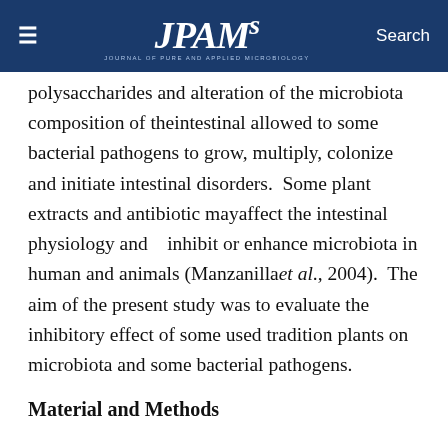JPAM — Journal of Pure and Applied Microbiology
polysaccharides and alteration of the microbiota composition of theintestinal allowed to some bacterial pathogens to grow, multiply, colonize and initiate intestinal disorders.  Some plant extracts and antibiotic mayaffect the intestinal physiology and   inhibit or enhance microbiota in human and animals (Manzanillaet al., 2004).  The aim of the present study was to evaluate the inhibitory effect of some used tradition plants on microbiota and some bacterial pathogens.
Material and Methods